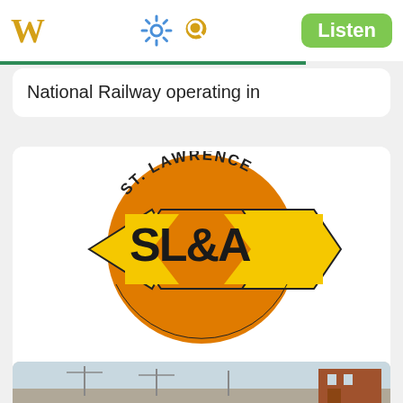W  [settings] [search]  Listen
National Railway operating in
[Figure (logo): St. Lawrence and Atlantic Railroad (SL&A) logo — orange circular badge with yellow arrow-shaped chevrons reading 'SL&A' in black bold lettering, with 'ST. LAWRENCE' arching around the top of the circle.]
The St. Lawrence and Atlantic Railroad, known as St-Laurent et Atlantique Quebec in Canada, is a short-line railway operating
[Figure (photo): Partial bottom image showing a historic railway scene with utility poles and a brick building.]